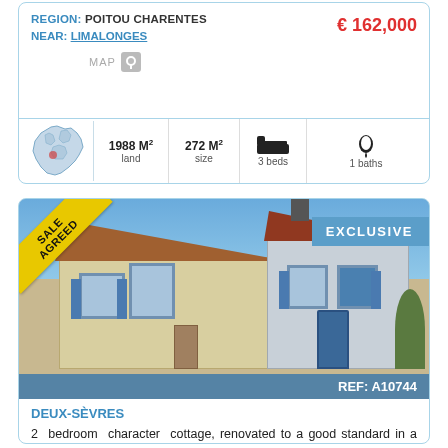| REGION: POITOU CHARENTES | € 162,000 |
| NEAR: LIMALONGES |  |
| MAP |  |
| 1988 M² land | 272 M² size | 3 beds | 1 baths |
[Figure (photo): Photo of a French character cottage with blue shutters and a chimney, under a blue sky. A 'SALE AGREED' yellow diagonal banner appears in the top-left corner, and an 'EXCLUSIVE' blue badge appears in the top-right. The reference number REF: A10744 appears in a blue bar at the bottom of the image.]
DEUX-SÈVRES
2 bedroom character cottage, renovated to a good standard in a quiet hamlet near Menigoute and a golf course.